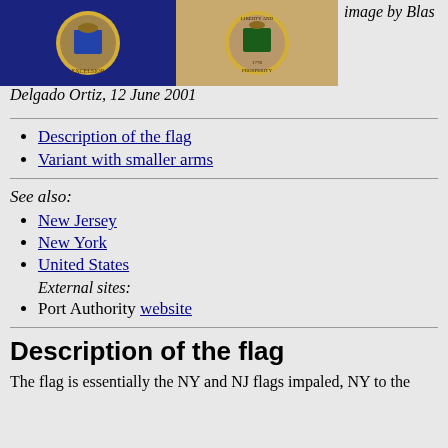[Figure (photo): Two state flags/seals - left shows NY flag (dark blue) with circular seal, right shows NJ flag (tan/buff) with circular seal]
image by Blas Delgado Ortiz, 12 June 2001
Description of the flag
Variant with smaller arms
See also:
New Jersey
New York
United States
External sites:
Port Authority website
Description of the flag
The flag is essentially the NY and NJ flags impaled, NY to the